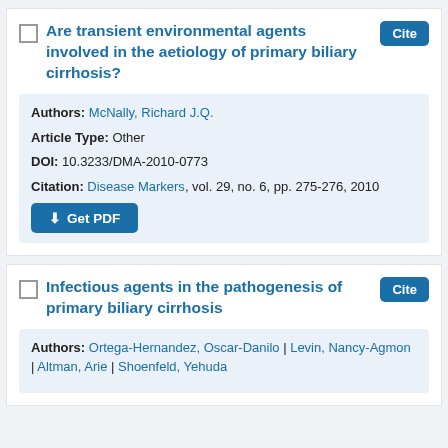Are transient environmental agents involved in the aetiology of primary biliary cirrhosis?
Authors: McNally, Richard J.Q.
Article Type: Other
DOI: 10.3233/DMA-2010-0773
Citation: Disease Markers, vol. 29, no. 6, pp. 275-276, 2010
Infectious agents in the pathogenesis of primary biliary cirrhosis
Authors: Ortega-Hernandez, Oscar-Danilo | Levin, Nancy-Agmon | Altman, Arie | Shoenfeld, Yehuda